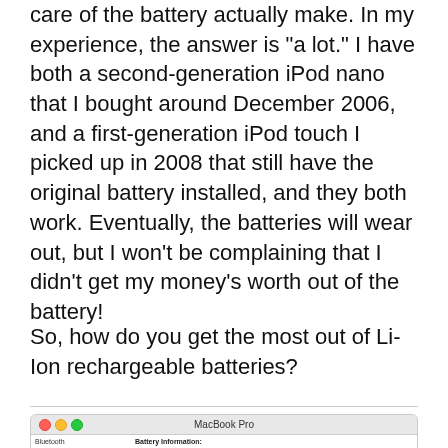care of the battery actually make. In my experience, the answer is "a lot." I have both a second-generation iPod nano that I bought around December 2006, and a first-generation iPod touch I picked up in 2008 that still have the original battery installed, and they both work. Eventually, the batteries will wear out, but I won't be complaining that I didn't get my money's worth out of the battery!
So, how do you get the most out of Li-Ion rechargeable batteries?
[Figure (screenshot): MacBook Pro system information window showing Battery Information panel with fields: Model Information, Serial Number: 0BB4103Y1LYF9CPAHr, Manufacturer: SMP, Device Name: bq20z451, Pack Lot Code: 0, PCB Lot Code: 0, Firmware Version: 302. Left sidebar shows: Bluetooth, Camera, Card Reader, Diagnostics, Disc Burning, Ethernet Cards, and more.]